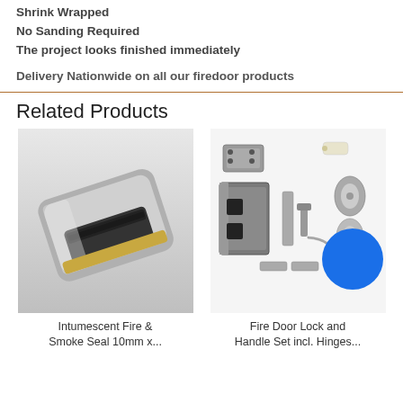Shrink Wrapped
No Sanding Required
The project looks finished immediately
Delivery Nationwide on all our firedoor products
Related Products
[Figure (photo): Close-up photo of an intumescent fire and smoke seal strip, showing a grey metallic U-channel with black brush/foam material inside.]
Intumescent Fire &
Smoke Seal 10mm x...
[Figure (photo): Photo of a fire door lock and handle set including hinges — showing a mortice lock body, strike plate, lever handle, key cylinders, and various fittings on a white background.]
Fire Door Lock and
Handle Set incl. Hinges...